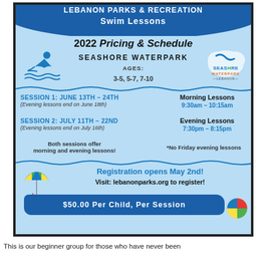Lebanon Parks & Recreation
Swim Lessons
2022 Pricing & Schedule
Seashore Waterpark
Ages: 3-5, 5-7, 7-10
[Figure (illustration): Blue swimmer icon with waves]
[Figure (logo): Seashore Waterpark Lebanon logo]
Session 1: June 13th – 24th (Evening lessons end on June 18th)
Morning Lessons 9:30AM – 10:15AM
Session 2: July 11th – 22nd (Evening lessons end on July 16th)
Evening Lessons 7:30PM – 8:15PM
Both sessions offer morning and evening lessons!
*No Friday evening lessons
[Figure (illustration): Beach umbrella icon]
Registration opens May 2nd! Visit: lebanonparks.org to register!
$50.00 Per Child, Per Session
[Figure (illustration): Colorful beach ball icon]
This is our beginner group for those who have never been